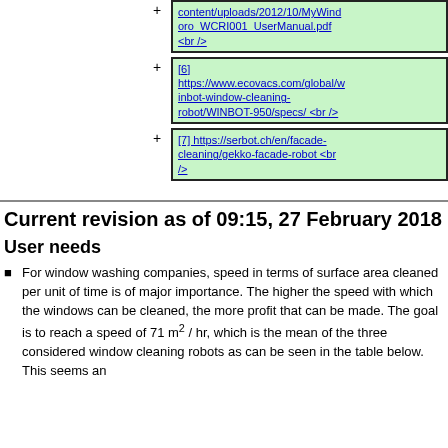[5] content/uploads/2012/10/MyWindoro_WCRI001_UserManual.pdf <br />
[6] https://www.ecovacs.com/global/winbot-window-cleaning-robot/WINBOT-950/specs/ <br />
[7] https://serbot.ch/en/facade-cleaning/gekko-facade-robot <br />
Current revision as of 09:15, 27 February 2018
User needs
For window washing companies, speed in terms of surface area cleaned per unit of time is of major importance. The higher the speed with which the windows can be cleaned, the more profit that can be made. The goal is to reach a speed of 71 m² / hr, which is the mean of the three considered window cleaning robots as can be seen in the table below. This seems an reasonable target for the model.